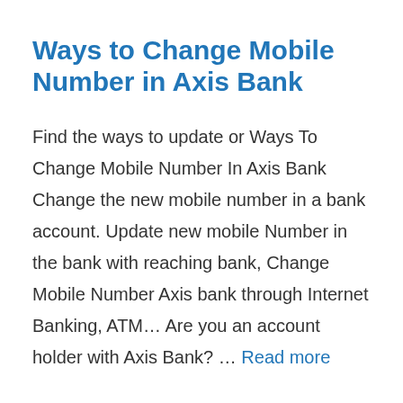Ways to Change Mobile Number in Axis Bank
Find the ways to update or Ways To Change Mobile Number In Axis Bank Change the new mobile number in a bank account. Update new mobile Number in the bank with reaching bank, Change Mobile Number Axis bank through Internet Banking, ATM… Are you an account holder with Axis Bank? … Read more